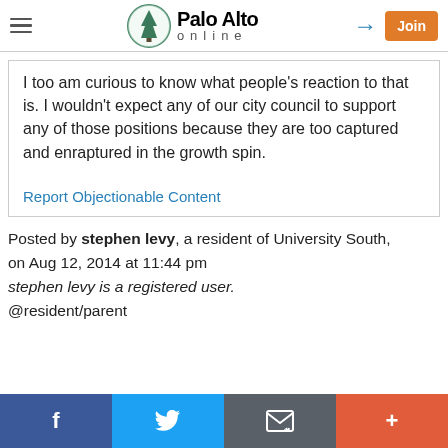Palo Alto online
I too am curious to know what people's reaction to that is. I wouldn't expect any of our city council to support any of those positions because they are too captured and enraptured in the growth spin.
Report Objectionable Content
Posted by stephen levy, a resident of University South, on Aug 12, 2014 at 11:44 pm
stephen levy is a registered user.
@resident/parent